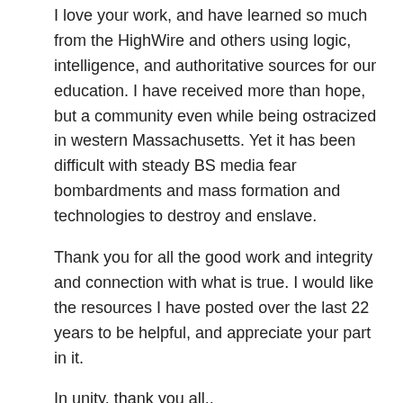I love your work, and have learned so much from the HighWire and others using logic, intelligence, and authoritative sources for our education. I have received more than hope, but a community even while being ostracized in western Massachusetts. Yet it has been difficult with steady BS media fear bombardments and mass formation and technologies to destroy and enslave.
Thank you for all the good work and integrity and connection with what is true. I would like the resources I have posted over the last 22 years to be helpful, and appreciate your part in it.
In unity, thank you all..
Jonathan